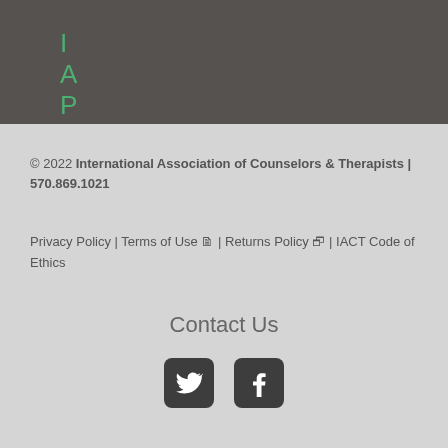IAPH
IAPH - The Hypnosis Alliance Network
© 2022 International Association of Counselors & Therapists | 570.869.1021
Privacy Policy | Terms of Use | Returns Policy | IACT Code of Ethics
Contact Us
[Figure (other): Twitter and Facebook social media icons]